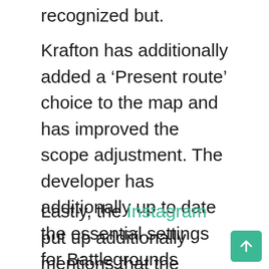recognized but.
Krafton has additionally added a ‘Present route’ choice to the map and has improved the scope adjustment. The developer has additionally up to date the essential settings for Battlegrounds Cellular India and has added a ‘seize spotlight moments’ characteristic.
Lastly, the Instagram put up additionally mentions that the gamers will now get limitless ammo within the coaching grounds. There are additionally new enviornment battle weapons being added to Battlegrounds Cellular India. Krafton has additionally